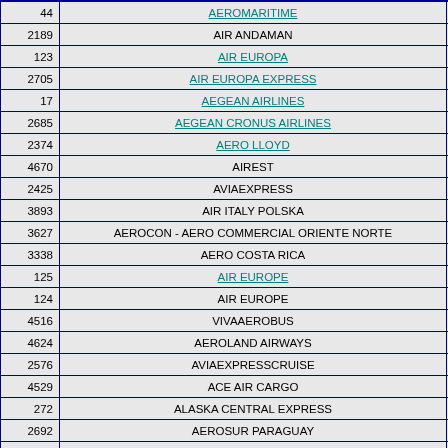| Code | Airline Name |  |
| --- | --- | --- |
| 44 | AEROMARITIME |  |
| 2189 | AIR ANDAMAN |  |
| 123 | AIR EUROPA |  |
| 2705 | AIR EUROPA EXPRESS |  |
| 17 | AEGEAN AIRLINES |  |
| 2685 | AEGEAN CRONUS AIRLINES |  |
| 2374 | AERO LLOYD |  |
| 4670 | AIREST |  |
| 2425 | AVIAEXPRESS |  |
| 3893 | AIR ITALY POLSKA |  |
| 3627 | AEROCON - AERO COMMERCIAL ORIENTE NORTE |  |
| 3338 | AERO COSTA RICA |  |
| 125 | AIR EUROPE |  |
| 124 | AIR EUROPE |  |
| 4516 | VIVAAEROBUS |  |
| 4624 | AEROLAND AIRWAYS |  |
| 2576 | AVIAEXPRESSCRUISE |  |
| 4529 | ACE AIR CARGO |  |
| 272 | ALASKA CENTRAL EXPRESS |  |
| 2692 | AEROSUR PARAGUAY |  |
| 2370 | ACES COLOMBIA |  |
| 3797 | AEROLINEAS CENTRALES DE COLOMBIA |  |
| 347 | ASTRAEUS |  |
| 848 | ICELAND EXPRESS |  |